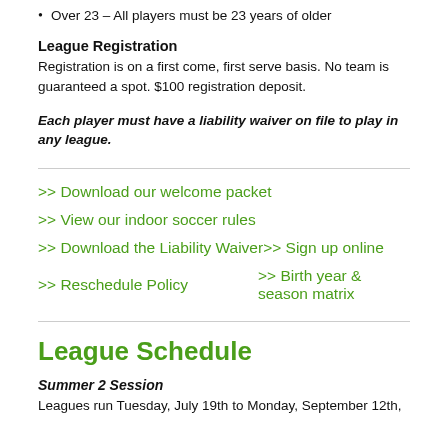Over 23 – All players must be 23 years or older
League Registration
Registration is on a first come, first serve basis. No team is guaranteed a spot. $100 registration deposit.
Each player must have a liability waiver on file to play in any league.
>> Download our welcome packet
>> View our indoor soccer rules
>> Download the Liability Waiver      >> Sign up online
>> Reschedule Policy      >> Birth year & season matrix
League Schedule
Summer 2 Session
Leagues run Tuesday, July 19th to Monday, September 12th,